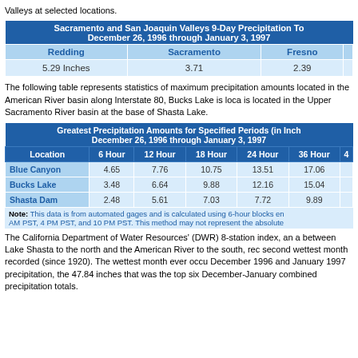Valleys at selected locations.
| Redding | Sacramento | Fresno |
| --- | --- | --- |
| 5.29 Inches | 3.71 | 2.39 |
The following table represents statistics of maximum precipitation amounts located in the American River basin along Interstate 80, Bucks Lake is located is located in the Upper Sacramento River basin at the base of Shasta Lake.
| Location | 6 Hour | 12 Hour | 18 Hour | 24 Hour | 36 Hour |
| --- | --- | --- | --- | --- | --- |
| Blue Canyon | 4.65 | 7.76 | 10.75 | 13.51 | 17.06 |
| Bucks Lake | 3.48 | 6.64 | 9.88 | 12.16 | 15.04 |
| Shasta Dam | 2.48 | 5.61 | 7.03 | 7.72 | 9.89 |
Note: This data is from automated gages and is calculated using 6-hour blocks ending at 10 AM PST, 4 PM PST, and 10 PM PST. This method may not represent the absolute maximum.
The California Department of Water Resources' (DWR) 8-station index, an area between Lake Shasta to the north and the American River to the south, recorded the second wettest month recorded (since 1920). The wettest month ever occurred in December 1996 and January 1997 precipitation, the 47.84 inches that was among the top six December-January combined precipitation totals.